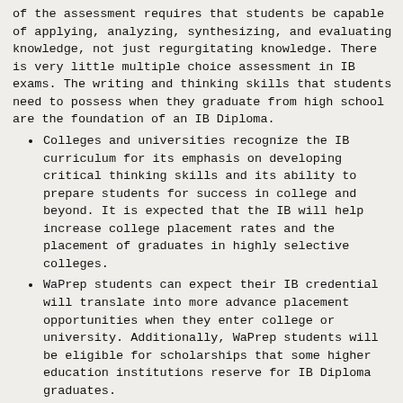of the assessment requires that students be capable of applying, analyzing, synthesizing, and evaluating knowledge, not just regurgitating knowledge. There is very little multiple choice assessment in IB exams. The writing and thinking skills that students need to possess when they graduate from high school are the foundation of an IB Diploma.
Colleges and universities recognize the IB curriculum for its emphasis on developing critical thinking skills and its ability to prepare students for success in college and beyond. It is expected that the IB will help increase college placement rates and the placement of graduates in highly selective colleges.
WaPrep students can expect their IB credential will translate into more advance placement opportunities when they enter college or university. Additionally, WaPrep students will be eligible for scholarships that some higher education institutions reserve for IB Diploma graduates.
As WaPrep goes forward with the implementation of the IB, students will still have the ability to take the AP exams and will be well prepared for those exams.